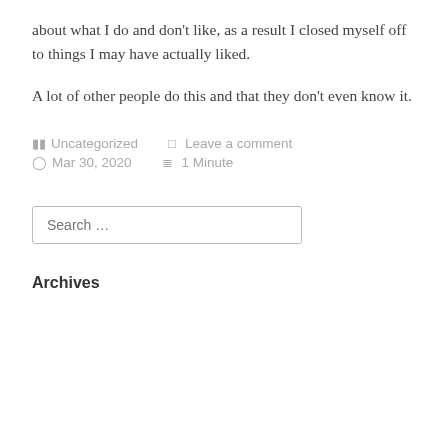about what I do and don't like, as a result I closed myself off to things I may have actually liked.
A lot of other people do this and that they don't even know it.
Uncategorized   Leave a comment   Mar 30, 2020   1 Minute
Search …
Archives